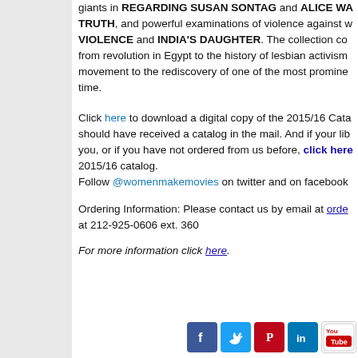giants in REGARDING SUSAN SONTAG and ALICE WALKER SPEAKS HER TRUTH, and powerful examinations of violence against women in SPEAKING VIOLENCE and INDIA'S DAUGHTER. The collection covers topics ranging from revolution in Egypt to the history of lesbian activism in the environmental movement to the rediscovery of one of the most prominent women artists of all time.
Click here to download a digital copy of the 2015/16 Catalog. Most libraries should have received a catalog in the mail. And if your library has not sent one to you, or if you have not ordered from us before, click here to receive a print copy of the 2015/16 catalog.
Follow @womenmakemovies on twitter and on facebook.
Ordering Information: Please contact us by email at orders@wmm.com or at 212-925-0606 ext. 360
For more information click here.
[Figure (other): Social media icons: Facebook, Twitter, Pinterest, LinkedIn, YouTube]